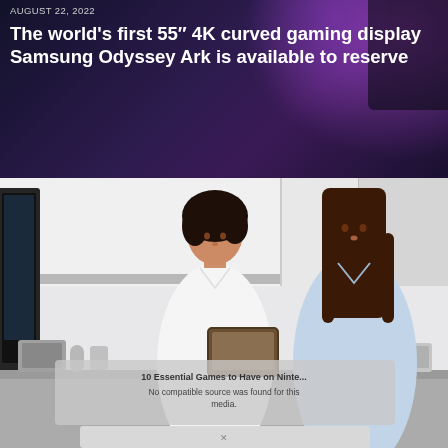AUGUST 22, 2022
The world's first 55” 4K curved gaming display Samsung Odyssey Ark is available to reserve
[Figure (photo): Two women in a medical office setting — one in a white coat (doctor or staff) looking down at a tablet, the other a patient in a light blue shirt standing across a counter. A computer monitor is partially visible on the left side.]
10 Essential Games to Have on Ninte... No compatible source was found for this media.